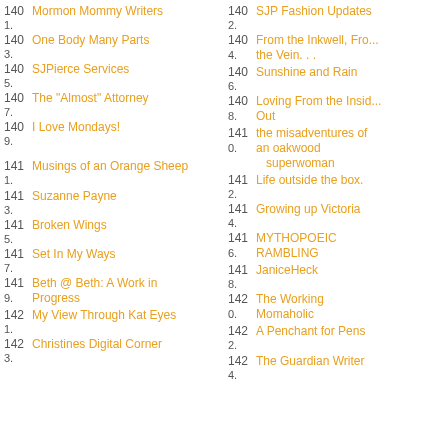140 Mormon Mommy Writers 1.
140 One Body Many Parts 3.
140 SJPierce Services 5.
140 The "Almost" Attorney 7.
140 I Love Mondays! 9.
141 Musings of an Orange Sheep 1.
141 Suzanne Payne 3.
141 Broken Wings 5.
141 Set In My Ways 7.
141 Beth @ Beth: A Work in Progress 9.
142 My View Through Kat Eyes 1.
142 Christines Digital Corner 3.
140 SJP Fashion Updates 2.
140 From the Inkwell, From the Vein. . . 4.
140 Sunshine and Rain 6.
140 Loving From the Inside Out 8.
141 the misadventures of an oakwood superwoman 0.
141 Life outside the box. 2.
141 Growing up Victoria 4.
141 MYTHOPOEIC RAMBLING 6.
141 JaniceHeck 8.
142 The Working Momaholic 0.
142 A Penchant for Pens 2.
142 The Guardian Writer 4.